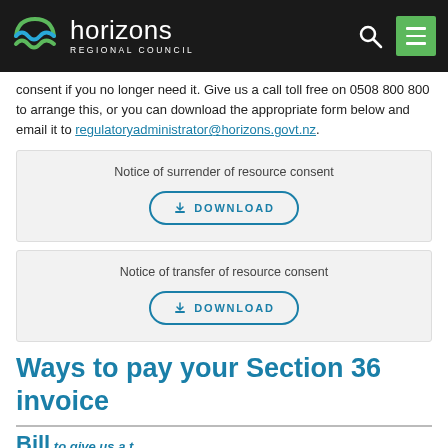Horizons Regional Council
consent if you no longer need it. Give us a call toll free on 0508 800 800 to arrange this, or you can download the appropriate form below and email it to regulatoryadministrator@horizons.govt.nz.
Notice of surrender of resource consent — DOWNLOAD
Notice of transfer of resource consent — DOWNLOAD
Ways to pay your Section 36 invoice
Bill...